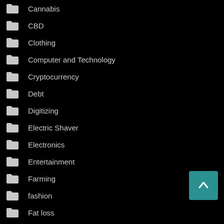Cannabis
CBD
Clothing
Computer and Technology
Cryptocurrency
Debt
Digitizing
Electric Shaver
Electronics
Entertainment
Farming
fashion
Fat loss